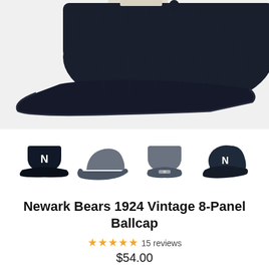[Figure (photo): Close-up photo of a navy blue vintage baseball cap with brim, shot from front-side angle showing wool fabric texture, white label visible at top]
[Figure (photo): Four thumbnail images of the Newark Bears 1924 Vintage 8-Panel Ballcap: front view with N logo (navy), side view (gray), back view (gray), and front 3/4 view (navy with N logo)]
Newark Bears 1924 Vintage 8-Panel Ballcap
★★★★★ 15 reviews
$54.00